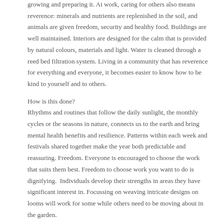growing and preparing it. At work, caring for others also means reverence: minerals and nutrients are replenished in the soil, and animals are given freedom, security and healthy food. Buildings are well maintained. Interiors are designed for the calm that is provided by natural colours, materials and light. Water is cleaned through a reed bed filtration system. Living in a community that has reverence for everything and everyone, it becomes easier to know how to be kind to yourself and to others.
How is this done?
Rhythms and routines that follow the daily sunlight, the monthly cycles or the seasons in nature, connects us to the earth and bring mental health benefits and resilience. Patterns within each week and festivals shared together make the year both predictable and reassuring. Freedom. Everyone is encouraged to choose the work that suits them best. Freedom to choose work you want to do is dignifying.  Individuals develop their strengths in areas they have significant interest in. Focussing on weaving intricate designs on looms will work for some while others need to be moving about in the garden.
Living in Community Thornage Hall is like an extended family that works for each other and cares for individuals. It opens the doors to a wider community as well; local residents who pick up their weekly vegetable box...